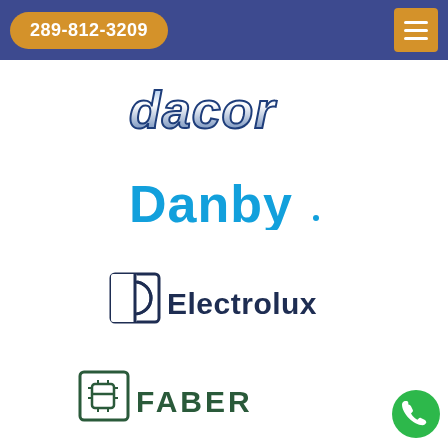289-812-3209
[Figure (logo): Dacor brand logo in stylized italic metallic blue/silver text]
[Figure (logo): Danby brand logo in bold cyan/blue text]
[Figure (logo): Electrolux brand logo with circular icon and dark navy text]
[Figure (logo): Faber brand logo with square icon and bold dark green uppercase text]